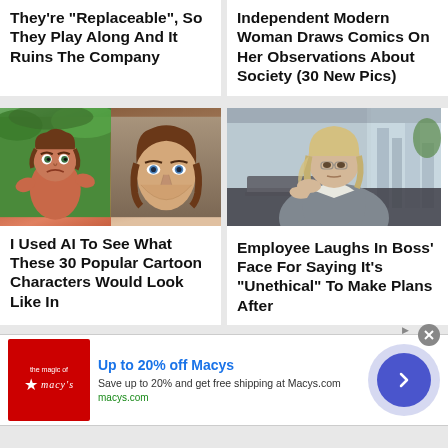They're "Replaceable", So They Play Along And It Ruins The Company
Independent Modern Woman Draws Comics On Her Observations About Society (30 New Pics)
[Figure (photo): Left: animated Tarzan cartoon character; Right: real-looking young man with brown hair and blue eyes]
I Used AI To See What These 30 Popular Cartoon Characters Would Look Like In
[Figure (photo): A woman in business attire sitting at a desk, resting her chin on her hand, looking bored or frustrated]
Employee Laughs In Boss' Face For Saying It's "Unethical" To Make Plans After
[Figure (other): Macy's advertisement banner: Up to 20% off Macys, Save up to 20% and get free shipping at Macys.com, macys.com]